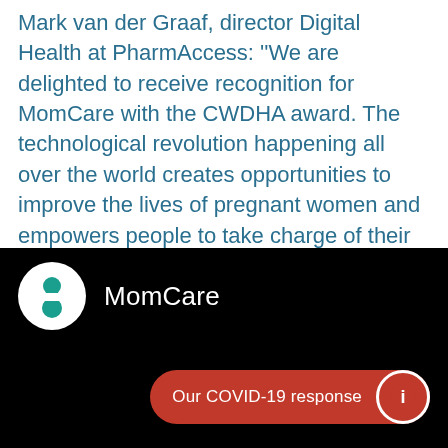Mark van der Graaf, director Digital Health at PharmAccess: ''We are delighted to receive recognition for MomCare with the CWDHA award. The technological revolution happening all over the world creates opportunities to improve the lives of pregnant women and empowers people to take charge of their own health.  Awarding this prize to initiatives like MomCare and co-winner Together for Her will help us move faster."
[Figure (screenshot): A dark (black background) app screenshot showing the MomCare logo (circular icon with teal hourglass-like figure) and the text 'MomCare', with a red pill-shaped button at the bottom right reading 'Our COVID-19 response' with an info icon.]